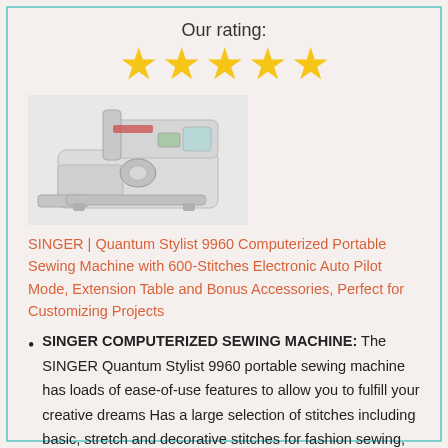Our rating:
[Figure (infographic): Five gold star rating icons displayed in a row]
[Figure (photo): SINGER Quantum Stylist 9960 computerized portable sewing machine, white color, shown at an angle on a white background]
SINGER | Quantum Stylist 9960 Computerized Portable Sewing Machine with 600-Stitches Electronic Auto Pilot Mode, Extension Table and Bonus Accessories, Perfect for Customizing Projects
SINGER COMPUTERIZED SEWING MACHINE: The SINGER Quantum Stylist 9960 portable sewing machine has loads of ease-of-use features to allow you to fulfill your creative dreams Has a large selection of stitches including basic, stretch and decorative stitches for fashion sewing, quilting, home